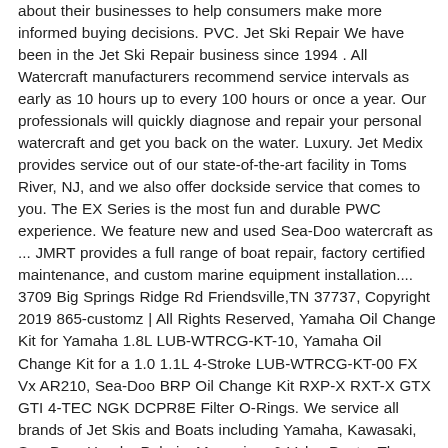about their businesses to help consumers make more informed buying decisions. PVC. Jet Ski Repair We have been in the Jet Ski Repair business since 1994 . All Watercraft manufacturers recommend service intervals as early as 10 hours up to every 100 hours or once a year. Our professionals will quickly diagnose and repair your personal watercraft and get you back on the water. Luxury. Jet Medix provides service out of our state-of-the-art facility in Toms River, NJ, and we also offer dockside service that comes to you. The EX Series is the most fun and durable PWC experience. We feature new and used Sea-Doo watercraft as ... JMRT provides a full range of boat repair, factory certified maintenance, and custom marine equipment installation.... 3709 Big Springs Ridge Rd Friendsville,TN 37737, Copyright 2019 865-customz | All Rights Reserved, Yamaha Oil Change Kit for Yamaha 1.8L LUB-WTRCG-KT-10, Yamaha Oil Change Kit for a 1.0 1.1L 4-Stroke LUB-WTRCG-KT-00 FX Vx AR210, Sea-Doo BRP Oil Change Kit RXP-X RXT-X GTX GTI 4-TEC NGK DCPR8E Filter O-Rings. We service all brands of Jet Skis and Boats including Yamaha, Kawasaki, Sea-Doo, Honda, Polaris, Mercruiser & Volvo Penta. The pump of any